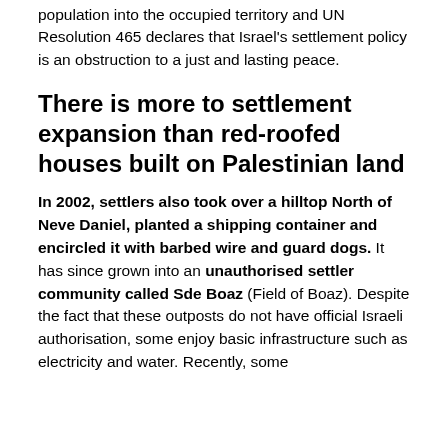population into the occupied territory and UN Resolution 465 declares that Israel's settlement policy is an obstruction to a just and lasting peace.
There is more to settlement expansion than red-roofed houses built on Palestinian land
In 2002, settlers also took over a hilltop North of Neve Daniel, planted a shipping container and encircled it with barbed wire and guard dogs. It has since grown into an unauthorised settler community called Sde Boaz (Field of Boaz). Despite the fact that these outposts do not have official Israeli authorisation, some enjoy basic infrastructure such as electricity and water. Recently, some